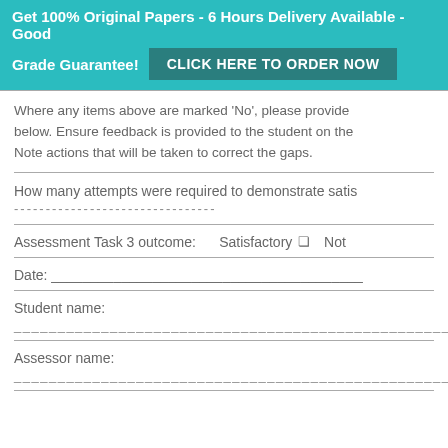Get 100% Original Papers - 6 Hours Delivery Available - Good Grade Guarantee! CLICK HERE TO ORDER NOW
Where any items above are marked 'No', please provide below. Ensure feedback is provided to the student on the Note actions that will be taken to correct the gaps.
How many attempts were required to demonstrate satis ________________________________
Assessment Task 3 outcome:    Satisfactory ☐   Not
Date: ________________________________________
Student name:
__________________________________________________
Assessor name:
__________________________________________________